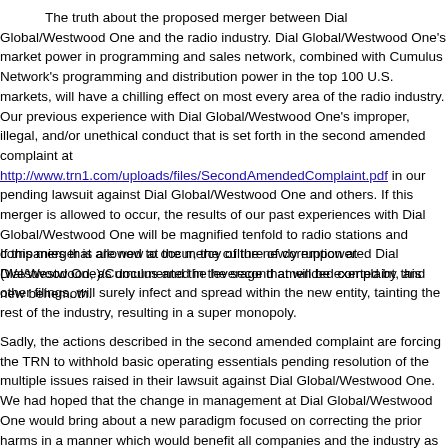The truth about the proposed merger between Dial Global/Westwood One and the radio industry. Dial Global/Westwood One's market power in programming and sales network, combined with Cumulus Network's programming and distribution power in the top 100 U.S. markets, will have a chilling effect on most every area of the radio industry. Our previous experience with Dial Global/Westwood One's improper, illegal, and/or unethical conduct that is set forth in the second amended complaint at http://www.trn1.com/uploads/files/SecondAmendedComplaint.pdf in our pending lawsuit against Dial Global/Westwood One and others. If this merger is allowed to occur, the results of our past experiences with Dial Global/Westwood One will be magnified tenfold to radio stations and companies that are now at the mercy of the newly empowered Dial (Westwood One)/Cumulus and the leverage that will be exerted by this new behemoth.
If this merger is allowed to occur, the culture of corruption at Dial/Westwood, as documented in the second amended complaint, and other filings, will surely infect and spread within the new entity, tainting the rest of the industry, resulting in a super monopoly.
Sadly, the actions described in the second amended complaint are forcing the TRN to withhold basic operating essentials pending resolution of the multiple issues raised in their lawsuit against Dial Global/Westwood One. We had hoped that the change in management at Dial Global/Westwood One would bring about a new paradigm focused on correcting the prior harms in a manner which would benefit all companies and the industry as a whole. Sadly, recent events have shown that the same unethical behaviors that gave rise to the lawsuits against Dial/Westwood One are endemic to the Dial/Westwood One monopoly. The ruthless and unethical behaviors that have continued through the transition at Dial/Westwood are breathtaking in their scope and arrogance.
We encourage the rest of our industry to stand together, and with us, now. We h...